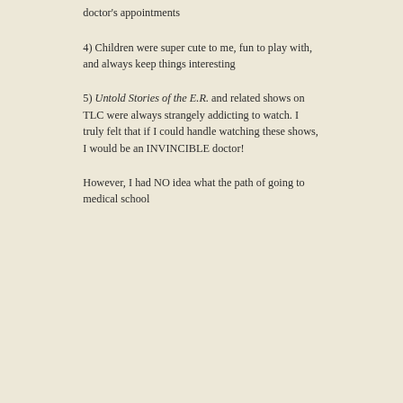doctor's appointments
4) Children were super cute to me, fun to play with, and always keep things interesting
5) Untold Stories of the E.R. and related shows on TLC were always strangely addicting to watch. I truly felt that if I could handle watching these shows, I would be an INVINCIBLE doctor!
However, I had NO idea what the path of going to medical school